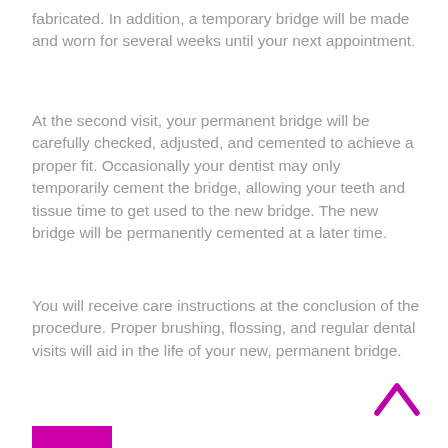fabricated.  In addition, a temporary bridge will be made and worn for several weeks until your next appointment.
At the second visit, your permanent bridge will be carefully checked, adjusted, and cemented to achieve a proper fit.  Occasionally your dentist may only temporarily cement the bridge, allowing your teeth and tissue time to get used to the new bridge.  The new bridge will be permanently cemented at a later time.
You will receive care instructions at the conclusion of the procedure.  Proper brushing, flossing, and regular dental visits will aid in the life of your new, permanent bridge.